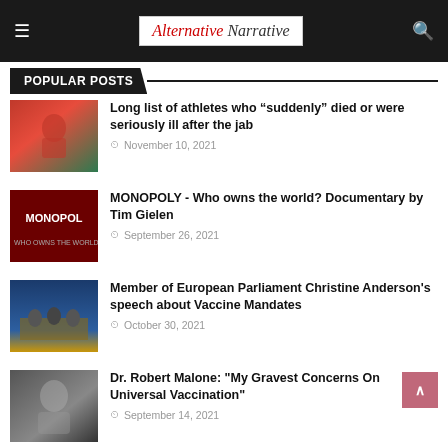Alternative Narrative
POPULAR POSTS
Long list of athletes who “suddenly” died or were seriously ill after the jab — November 10, 2021
MONOPOLY - Who owns the world? Documentary by Tim Gielen — September 26, 2021
Member of European Parliament Christine Anderson's speech about Vaccine Mandates — October 30, 2021
Dr. Robert Malone: "My Gravest Concerns On Universal Vaccination" — September 14, 2021